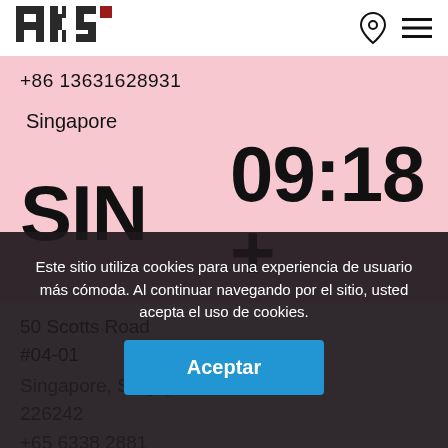[Figure (logo): HKS logo — blocky pixel-art letters H, K, S with a small red square accent, in dark grey/black]
+86 13631628931
Singapore
SIN   09:18 +
50 Scotts Road
#04-01
Singapore, Singapore
226242
+65 6338 2881
Este sitio utiliza cookies para una experiencia de usuario más cómoda. Al continuar navegando por el sitio, usted acepta el uso de cookies.
Aceptar
Stavanger